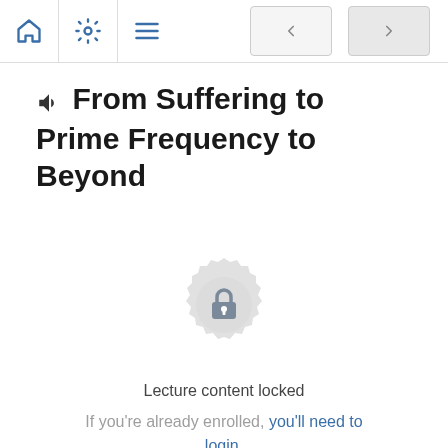[Navigation bar with home, settings, menu icons and prev/next buttons]
From Suffering to Prime Frequency to Beyond
[Figure (illustration): Circular badge/seal icon with a padlock in the center, light grey color]
Lecture content locked
If you're already enrolled, you'll need to login.